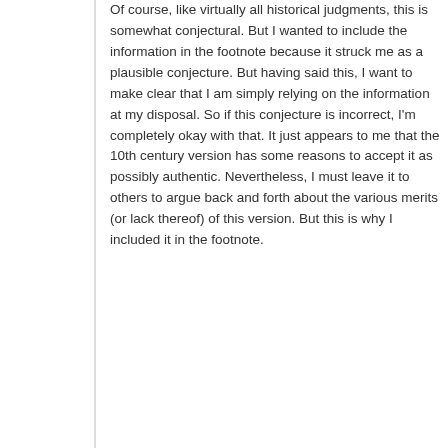Of course, like virtually all historical judgments, this is somewhat conjectural. But I wanted to include the information in the footnote because it struck me as a plausible conjecture. But having said this, I want to make clear that I am simply relying on the information at my disposal. So if this conjecture is incorrect, I'm completely okay with that. It just appears to me that the 10th century version has some reasons to accept it as possibly authentic. Nevertheless, I must leave it to others to argue back and forth about the various merits (or lack thereof) of this version. But this is why I included it in the footnote.
Thanks again for writing!
REPLY
Paul
8 years ago
Michael, I am an atheist, but I hope you answer my question seriously, as I will promise the same toward your answer.
Tacitus wrote the Annals approximately 20 years after